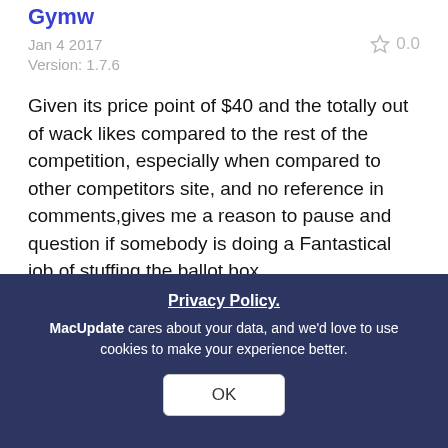Gymw
Jan 4 2017   ★ 0.0
Version: 1.7.6
Given its price point of $40 and the totally out of wack likes compared to the rest of the competition, especially when compared to other competitors site, and no reference in comments,gives me a reason to pause and question if somebody is doing a Fantastical job of stuffing the ballot box.
👍 👎 Reply
Johnk77
Privacy Policy.
MacUpdate cares about your data, and we'd love to use cookies to make your experience better.
OK